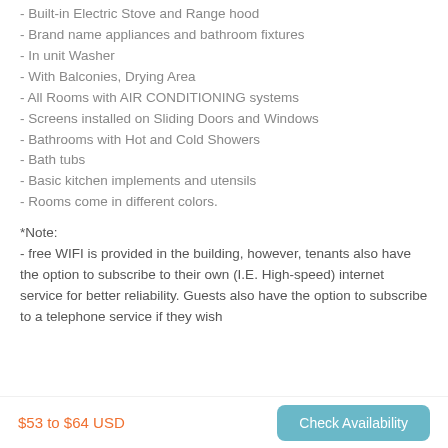- Built-in Electric Stove and Range hood
- Brand name appliances and bathroom fixtures
- In unit Washer
- With Balconies, Drying Area
- All Rooms with AIR CONDITIONING systems
- Screens installed on Sliding Doors and Windows
- Bathrooms with Hot and Cold Showers
- Bath tubs
- Basic kitchen implements and utensils
- Rooms come in different colors.
*Note:
- free WIFI is provided in the building, however, tenants also have the option to subscribe to their own (I.E. High-speed) internet service for better reliability. Guests also have the option to subscribe to a telephone service if they wish
$53 to $64 USD
Check Availability